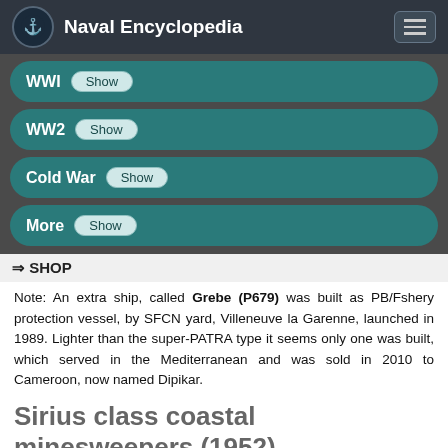Naval Encyclopedia
WWI Show
WW2 Show
Cold War Show
More Show
⇒ SHOP
Note: An extra ship, called Grebe (P679) was built as PB/Fshery protection vessel, by SFCN yard, Villeneuve la Garenne, launched in 1989. Lighter than the super-PATRA type it seems only one was built, which served in the Mediterranean and was sold in 2010 to Cameroon, now named Dipikar.
Sirius class coastal minesweepers (1952)